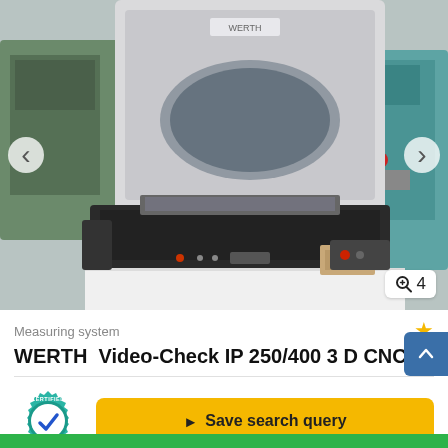[Figure (photo): Photo of a WERTH Video-Check IP 250/400 3D CNC measuring system on a factory floor, showing a large optical measuring machine with glass stage, positioned in an industrial workshop with other machines visible in background.]
Measuring system
WERTH Video-Check IP 250/400 3 D CNC
[Figure (logo): Certified Dealer badge — teal gear-shaped icon with a blue checkmark and text CERTIFIED DEALER]
Save search query